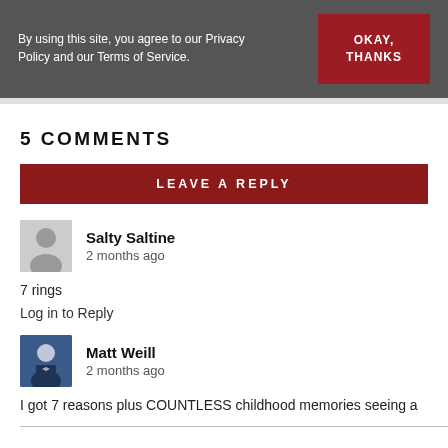By using this site, you agree to our Privacy Policy and our Terms of Service.
OKAY, THANKS
5 COMMENTS
LEAVE A REPLY
Salty Saltine
2 months ago
7 rings
Log in to Reply
Matt Weill
2 months ago
I got 7 reasons plus COUNTLESS childhood memories seeing a